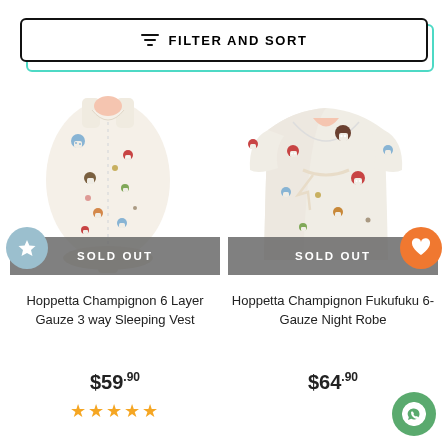FILTER AND SORT
[Figure (photo): Hoppetta Champignon 6 Layer Gauze 3 way Sleeping Vest - white baby sleeping sack with colorful mushroom print, SOLD OUT]
[Figure (photo): Hoppetta Champignon Fukufuku 6-Gauze Night Robe - white baby kimono robe with colorful mushroom print, SOLD OUT]
Hoppetta Champignon 6 Layer Gauze 3 way Sleeping Vest
$59.90
★★★★★
Hoppetta Champignon Fukufuku 6-Gauze Night Robe
$64.90